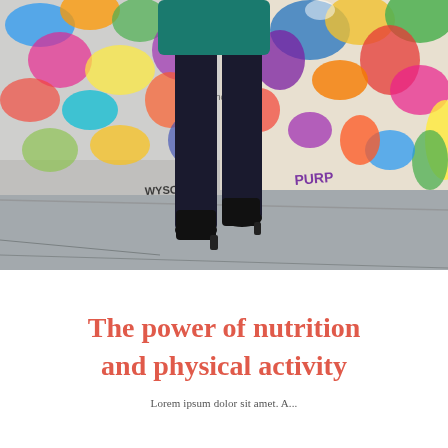[Figure (photo): A person wearing a teal/green dress and dark tights with black heeled boots walking along a sidewalk in front of a colorful graffiti-covered wall. Only the lower half of the body is visible from roughly the waist down.]
The power of nutrition and physical activity
Lorem ipsum dolor sit amet. A...